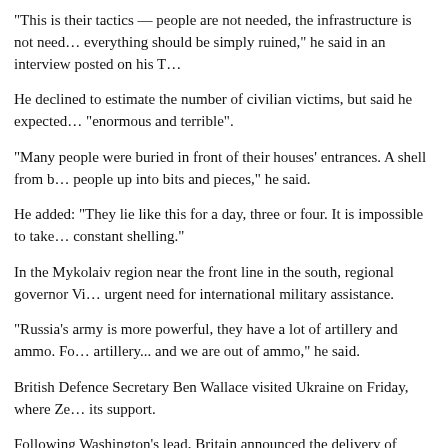“This is their tactics — people are not needed, the infrastructure is not need… everything should be simply ruined,” he said in an interview posted on his T…
He declined to estimate the number of civilian victims, but said he expected… “enormous and terrible”.
“Many people were buried in front of their houses’ entrances. A shell from b… people up into bits and pieces,” he said.
He added: “They lie like this for a day, three or four. It is impossible to take… constant shelling.”
In the Mykolaiv region near the front line in the south, regional governor Vi… urgent need for international military assistance.
“Russia’s army is more powerful, they have a lot of artillery and ammo. Fo… artillery... and we are out of ammo,” he said.
British Defence Secretary Ben Wallace visited Ukraine on Friday, where Ze… its support.
Following Washington’s lead, Britain announced the delivery of multiple ro… with a range of about 80 kilometres, slightly superior than the Russian syste…
It was not clear when Ukraine will be able to start using them.